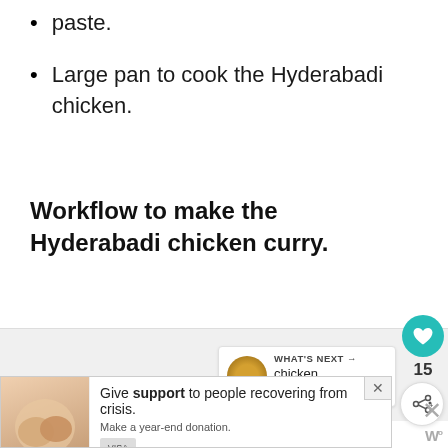paste.
Large pan to cook the Hyderabadi chicken.
Workflow to make the Hyderabadi chicken curry.
[Figure (screenshot): Grey content placeholder box with what's next widget showing chicken masala, and social sidebar with heart icon (15 likes) and share button]
[Figure (screenshot): Advertisement banner: Give support to people recovering from crisis. Make a year-end donation. With close button and W logo.]